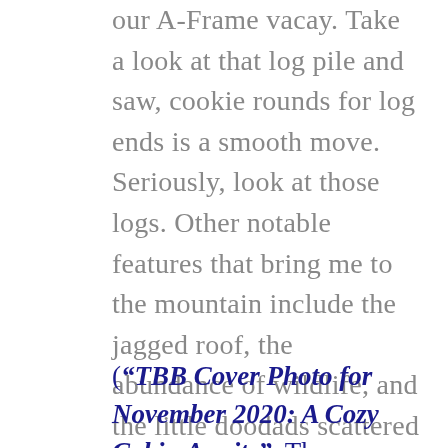the build to life, further reminding me of our A-Frame vacay. Take a look at that log pile and saw, cookie rounds for log ends is a smooth move. Seriously, look at those logs. Other notable features that bring me to the mountain include the jagged roof, the abundance of wildlife, and the little doodads scattered here and there.
Now I need to see the inside of this cabin....is it February yet?”
(“TBB Cover Photo for November 2020: A Cozy Cabin Awaits”. The Brothers